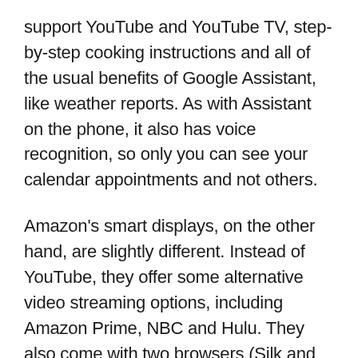support YouTube and YouTube TV, step-by-step cooking instructions and all of the usual benefits of Google Assistant, like weather reports. As with Assistant on the phone, it also has voice recognition, so only you can see your calendar appointments and not others.
Amazon's smart displays, on the other hand, are slightly different. Instead of YouTube, they offer some alternative video streaming options, including Amazon Prime, NBC and Hulu. They also come with two browsers (Silk and Firefox), which you can use to search the web or watch YouTube videos – a handy enough workaround given the lack of a dedicated app.